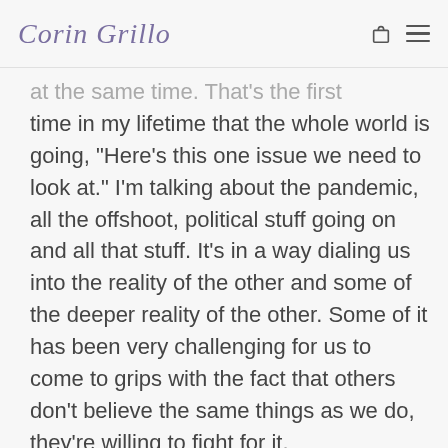Corin Grillo
at the same time. That's the first time in my lifetime that the whole world is going, “Here’s this one issue we need to look at.” I’m talking about the pandemic, all the offshoot, political stuff going on and all that stuff. It’s in a way dialing us into the reality of the other and some of the deeper reality of the other. Some of it has been very challenging for us to come to grips with the fact that others don’t believe the same things as we do, they’re willing to fight for it.